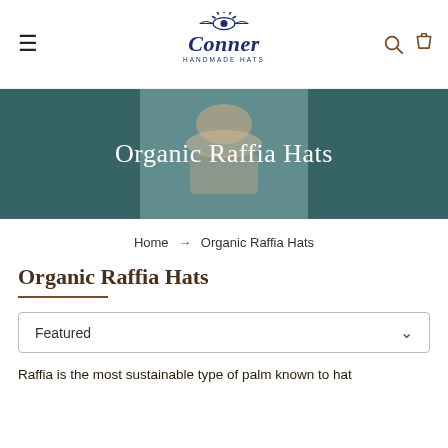[Figure (logo): Conner Handmade Hats logo in dark navy blue with decorative sun/eye motif above the word Conner in script font and HANDMADE HATS in small caps below]
[Figure (photo): Hero banner image: overhead/aerial photo of a person wearing a hat, overlaid with teal/dark teal color wash. Text 'Organic Raffia Hats' in white centered on the image.]
Home → Organic Raffia Hats
Organic Raffia Hats
Featured
Raffia is the most sustainable type of palm known to hat